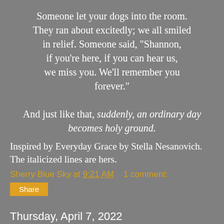Someone let your dogs into the room. They ran about excitedly; we all smiled in relief. Someone said, "Shannon, if you're here, if you can hear us, we miss you. We'll remember you forever."

And just like that, suddenly, an ordinary day becomes holy ground.
Inspired by Everyday Grace by Stella Nesanovich. The italicized lines are hers.
Sherry Blue Sky at 9:21 AM   1 comment:
Share
Thursday, April 7, 2022
SUNDAY MORNING, EARLY